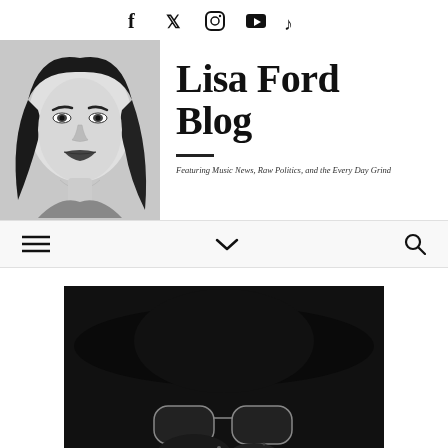[Figure (other): Social media icons row: Facebook, Twitter, Instagram, YouTube, TikTok]
[Figure (photo): Black and white illustrated portrait of a woman with long dark hair and dark lipstick]
Lisa Ford Blog
Featuring Music News, Raw Politics, and the Every Day Grind
[Figure (other): Navigation bar with hamburger menu icon, chevron/dropdown icon, and search icon]
[Figure (photo): Black and white photo showing a person wearing a wide-brim black hat and sunglasses with sequined or sparkly clothing]